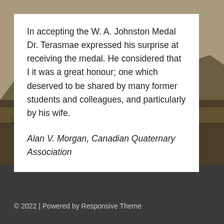[Figure (photo): Background landscape photo of a rugged mountainous terrain with dark skies, partially covered by a white content card]
In accepting the W. A. Johnston Medal Dr. Terasmae expressed his surprise at receiving the medal. He considered that I it was a great honour; one which deserved to be shared by many former students and colleagues, and particularly by his wife.
Alan V. Morgan, Canadian Quaternary Association
© 2022 | Powered by Responsive Theme